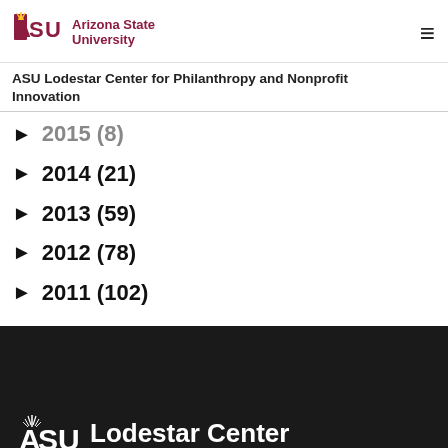ASU Lodestar Center for Philanthropy and Nonprofit Innovation
► 2015 (8)
► 2014 (21)
► 2013 (59)
► 2012 (78)
► 2011 (102)
ASU Lodestar Center for Philanthropy and Nonprofit Innovation — Arizona State University